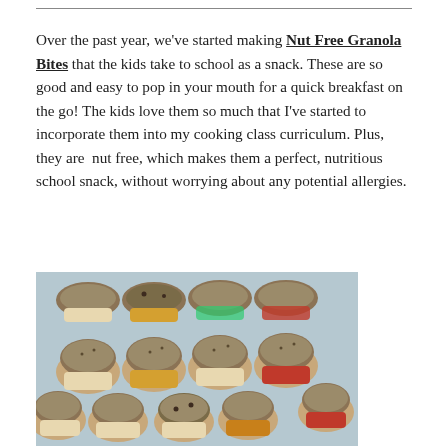Over the past year, we've started making Nut Free Granola Bites that the kids take to school as a snack. These are so good and easy to pop in your mouth for a quick breakfast on the go! The kids love them so much that I've started to incorporate them into my cooking class curriculum. Plus, they are  nut free, which makes them a perfect, nutritious school snack, without worrying about any potential allergies.
[Figure (photo): A tray of nut-free granola bites/muffins in colorful silicone and paper liners, arranged in rows on a blue/grey muffin tray.]